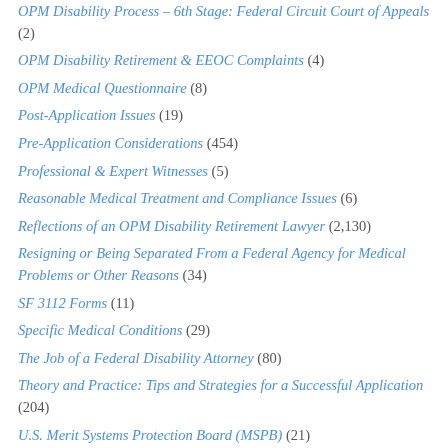OPM Disability Process – 6th Stage: Federal Circuit Court of Appeals (2)
OPM Disability Retirement & EEOC Complaints (4)
OPM Medical Questionnaire (8)
Post-Application Issues (19)
Pre-Application Considerations (454)
Professional & Expert Witnesses (5)
Reasonable Medical Treatment and Compliance Issues (6)
Reflections of an OPM Disability Retirement Lawyer (2,130)
Resigning or Being Separated From a Federal Agency for Medical Problems or Other Reasons (34)
SF 3112 Forms (11)
Specific Medical Conditions (29)
The Job of a Federal Disability Attorney (80)
Theory and Practice: Tips and Strategies for a Successful Application (204)
U.S. Merit Systems Protection Board (MSPB) (21)
U.S. Office of Personnel Management (OPM) (81)
U.S. Postal Service (USPS) Disability Retirement (36)
Uncategorized (362)